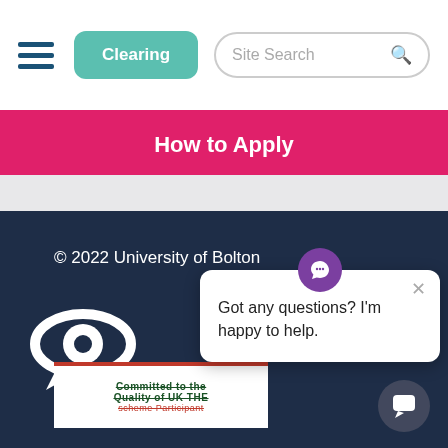[Figure (screenshot): University website header with hamburger menu, Clearing button, and Site Search box]
How to Apply
© 2022 University of Bolton
[Figure (logo): University of Bolton eye/speech bubble logo in white]
[Figure (logo): Committed to the quality of UK THE scheme participant badge]
[Figure (screenshot): Chat popup: Got any questions? I'm happy to help.]